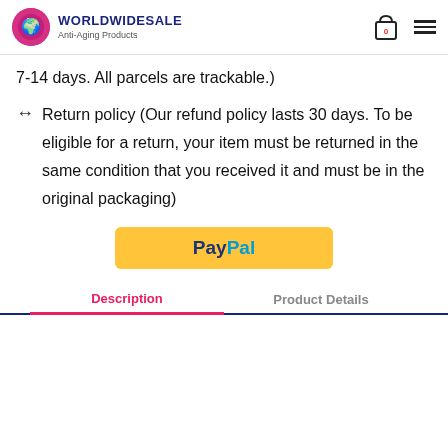WORLDWIDESALE Anti-Aging Products
7-14 days. All parcels are trackable.)
↔ Return policy (Our refund policy lasts 30 days. To be eligible for a return, your item must be returned in the same condition that you received it and must be in the original packaging)
[Figure (logo): PayPal payment button (yellow background with PayPal logo text)]
Description | Product Details